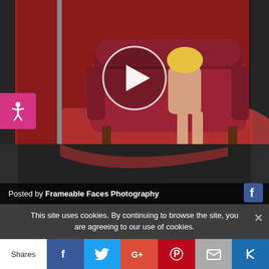[Figure (photo): A photo/video thumbnail of a woman with blonde hair sitting on a red tufted sofa in a photography studio, with red fabric backdrop and studio lighting equipment. A white play button icon is overlaid on the center of the image indicating a video.]
Posted by Frameable Faces Photography
This site uses cookies. By continuing to browse the site, you are agreeing to our use of cookies.
Shares